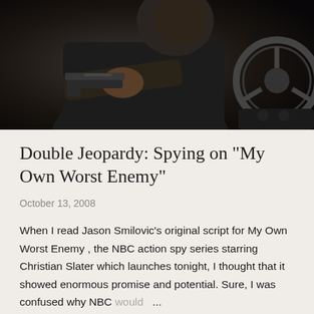[Figure (photo): A person dressed in dark clothing pointing a gun toward the viewer, seated in a car with a steering wheel visible on the right side. Dark, moody action scene.]
Double Jeopardy: Spying on "My Own Worst Enemy"
October 13, 2008
When I read Jason Smilovic's original script for My Own Worst Enemy , the NBC action spy series starring Christian Slater which launches tonight, I thought that it showed enormous promise and potential. Sure, I was confused why NBC would ...
SHARE
4 COMMENTS
CONTINUE READING FULL STORY...